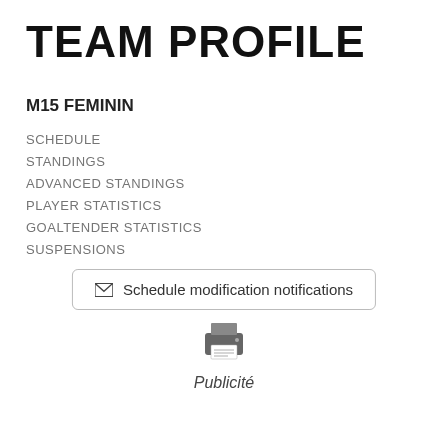TEAM PROFILE
M15 FEMININ
SCHEDULE
STANDINGS
ADVANCED STANDINGS
PLAYER STATISTICS
GOALTENDER STATISTICS
SUSPENSIONS
✉ Schedule modification notifications
[Figure (illustration): Printer icon]
Publicité